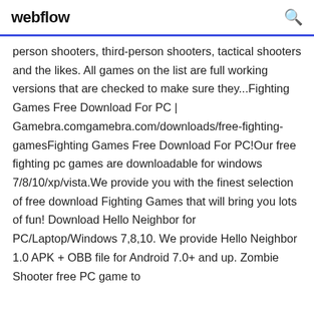webflow
person shooters, third-person shooters, tactical shooters and the likes. All games on the list are full working versions that are checked to make sure they...Fighting Games Free Download For PC | Gamebra.comgamebra.com/downloads/free-fighting-gamesFighting Games Free Download For PC!Our free fighting pc games are downloadable for windows 7/8/10/xp/vista.We provide you with the finest selection of free download Fighting Games that will bring you lots of fun! Download Hello Neighbor for PC/Laptop/Windows 7,8,10. We provide Hello Neighbor 1.0 APK + OBB file for Android 7.0+ and up. Zombie Shooter free PC game to